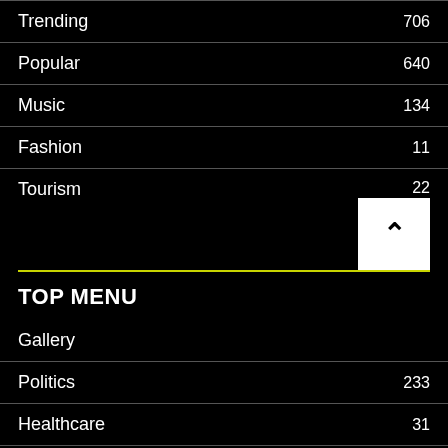Trending 706
Popular 640
Music 134
Fashion 11
Tourism 22
TOP MENU
Gallery
Politics 233
Healthcare 31
Tourism 22